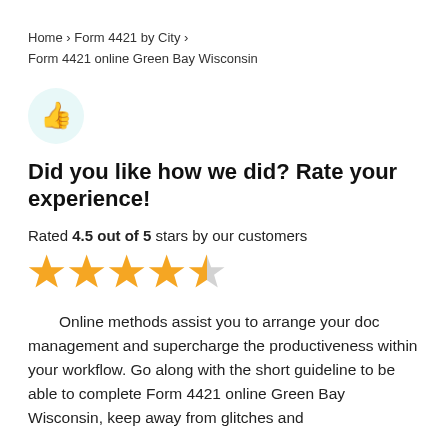Home › Form 4421 by City › Form 4421 online Green Bay Wisconsin
[Figure (illustration): Thumbs up icon in a light teal circular background]
Did you like how we did? Rate your experience!
Rated 4.5 out of 5 stars by our customers
[Figure (other): 4.5 out of 5 stars rating shown as four full gold stars and one half gold star]
Online methods assist you to arrange your doc management and supercharge the productiveness within your workflow. Go along with the short guideline to be able to complete Form 4421 online Green Bay Wisconsin, keep away from glitches and